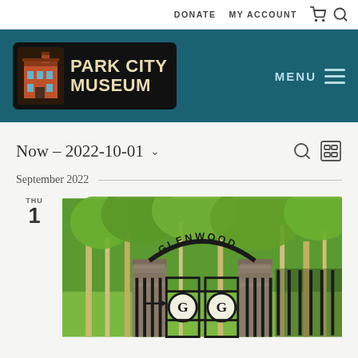DONATE  MY ACCOUNT
[Figure (logo): Park City Museum logo with building illustration and text PARK CITY MUSEUM on dark background]
MENU
Now - 2022-10-01
September 2022
THU
1
[Figure (photo): Glenwood Cemetery gate with ornate iron arch spelling GLENWOOD, stone pillars, and trees in background]